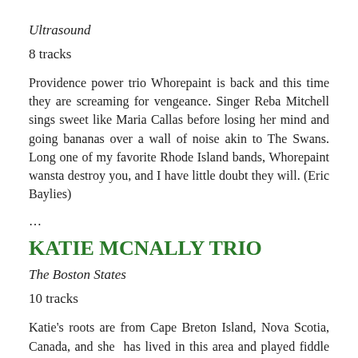Ultrasound
8 tracks
Providence power trio Whorepaint is back and this time they are screaming for vengeance. Singer Reba Mitchell sings sweet like Maria Callas before losing her mind and going bananas over a wall of noise akin to The Swans. Long one of my favorite Rhode Island bands, Whorepaint wansta destroy you, and I have little doubt they will. (Eric Baylies)
…
KATIE MCNALLY TRIO
The Boston States
10 tracks
Katie's roots are from Cape Breton Island, Nova Scotia, Canada, and she has lived in this area and played fiddle on the scene since graduating from Tufts in 2012. For many moons, Boston was the American home for expatriate Cape Breton Islanders far from the rich Scottish culture of their home and its Canadian dance halls. The title of this all-